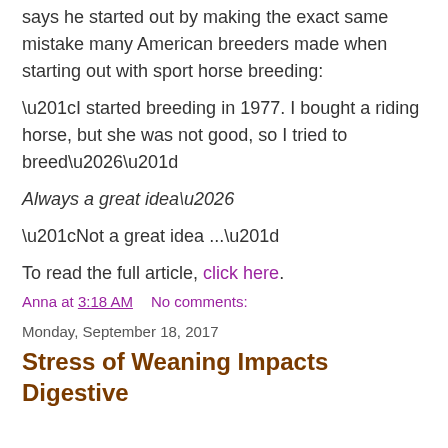says he started out by making the exact same mistake many American breeders made when starting out with sport horse breeding:
“I started breeding in 1977. I bought a riding horse, but she was not good, so I tried to breed…”
Always a great idea…
“Not a great idea ...”
To read the full article, click here.
Anna at 3:18 AM    No comments:
Share
Monday, September 18, 2017
Stress of Weaning Impacts Digestive